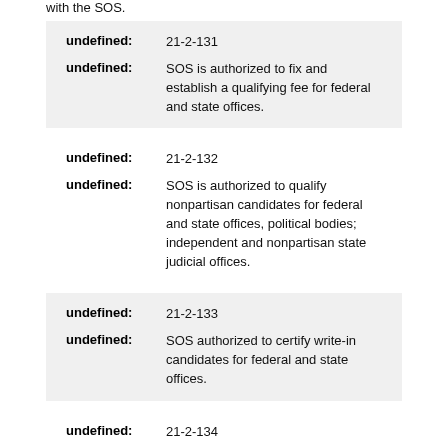with the SOS.
undefined: 21-2-131
undefined: SOS is authorized to fix and establish a qualifying fee for federal and state offices.
undefined: 21-2-132
undefined: SOS is authorized to qualify nonpartisan candidates for federal and state offices, political bodies; independent and nonpartisan state judicial offices.
undefined: 21-2-133
undefined: SOS authorized to certify write-in candidates for federal and state offices.
undefined: 21-2-134
undefined: SOS authorized to accept candidate withdrawals for federal and state office.